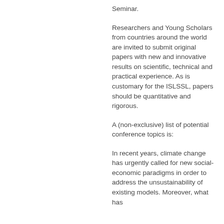Seminar.
Researchers and Young Scholars from countries around the world are invited to submit original papers with new and innovative results on scientific, technical and practical experience. As is customary for the ISLSSL, papers should be quantitative and rigorous.
A (non-exclusive) list of potential conference topics is:
In recent years, climate change has urgently called for new social-economic paradigms in order to address the unsustainability of existing models. Moreover, what has